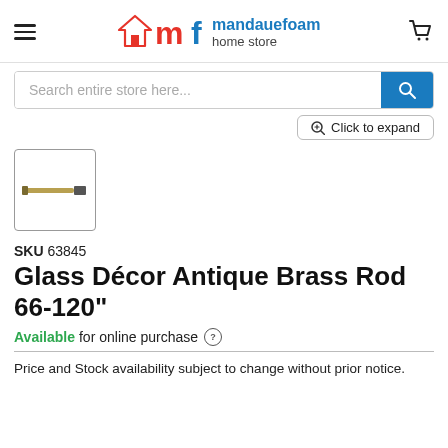[Figure (logo): Mandaue Foam home store logo with house icon and 'mf' letters in red/blue]
Search entire store here...
Click to expand
[Figure (photo): Thumbnail image of Glass Decor Antique Brass Rod]
SKU 63845
Glass Décor Antique Brass Rod 66-120"
Available for online purchase
Price and Stock availability subject to change without prior notice.